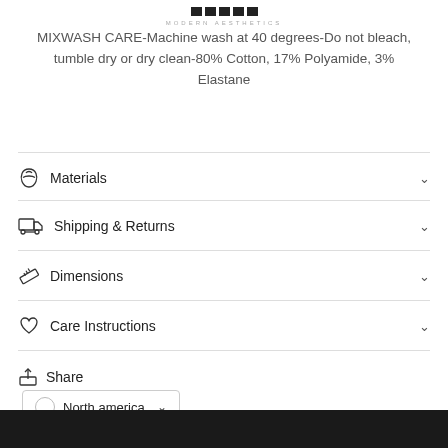MODERN AESTHETICS
MIXWASH CARE-Machine wash at 40 degrees-Do not bleach, tumble dry or dry clean-80% Cotton, 17% Polyamide, 3% Elastane
Materials
Shipping & Returns
Dimensions
Care Instructions
Share
North america